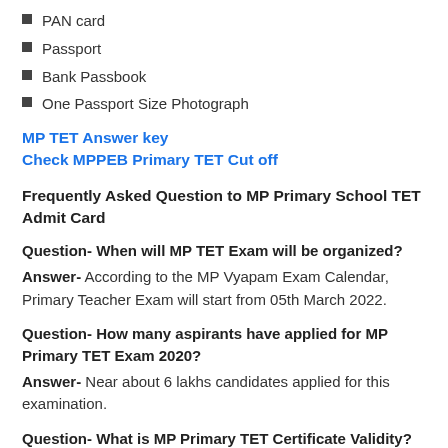PAN card
Passport
Bank Passbook
One Passport Size Photograph
MP TET Answer key
Check MPPEB Primary TET Cut off
Frequently Asked Question to MP Primary School TET Admit Card
Question- When will MP TET Exam will be organized?
Answer- According to the MP Vyapam Exam Calendar, Primary Teacher Exam will start from 05th March 2022.
Question- How many aspirants have applied for MP Primary TET Exam 2020?
Answer- Near about 6 lakhs candidates applied for this examination.
Question- What is MP Primary TET Certificate Validity?